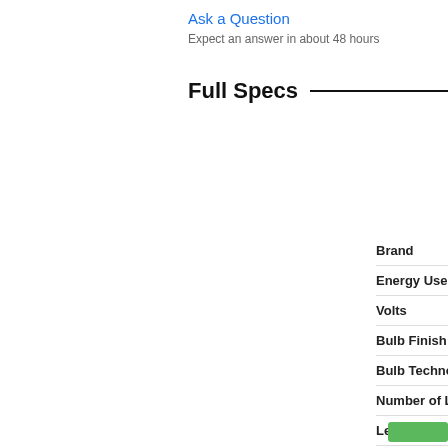Ask a Question
Expect an answer in about 48 hours
Full Specs
| Spec | Value |
| --- | --- |
| Brand | Larson Electronics |
| Energy Used | 72 Watts |
| Volts | 120 |
| Bulb Finish | Clear |
| Bulb Technology | UVC Fluorescent |
| Number of Lamps | 2 |
| Length (in) | 48/48 |
| Width (in) | 7 |
| Finish | White |
| Mounting | Surface |
| Contains Mercury (Hg) | Yes |
| Not For Sale In | WA |
| Utilizes UVC | Yes |